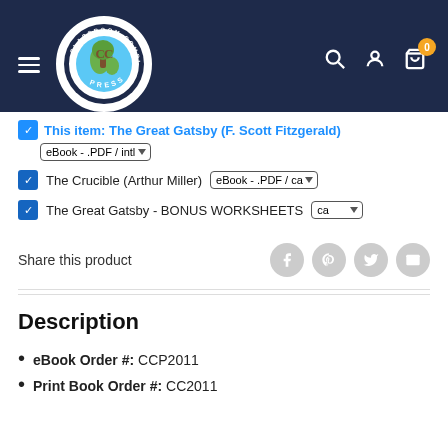[Figure (logo): Classroom Complete Press circular logo with tree graphic]
This item: The Great Gatsby (F. Scott Fitzgerald)
The Crucible (Arthur Miller) — eBook - .PDF / ca
The Great Gatsby - BONUS WORKSHEETS — ca
Share this product
Description
eBook Order #: CCP2011
Print Book Order #: CC2011